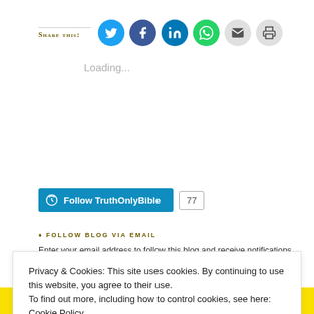Share this:
Loading...
[Figure (other): Follow TruthOnlyBible WordPress button with follower count 77]
FOLLOW BLOG VIA EMAIL
Enter your email address to follow this blog and receive notifications of new posts by email.
Privacy & Cookies: This site uses cookies. By continuing to use this website, you agree to their use.
To find out more, including how to control cookies, see here: Cookie Policy
Close and accept
[Figure (other): Buy me a coffee yellow banner strip at bottom]